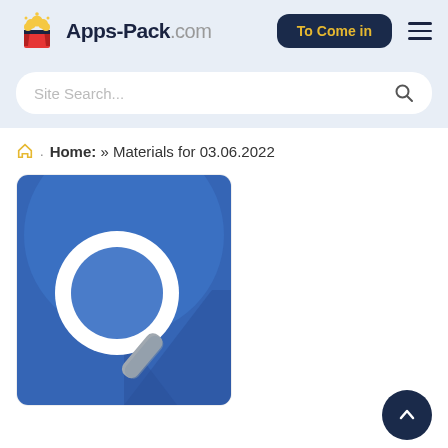Apps-Pack.com — To Come in
Site Search...
Home: » Materials for 03.06.2022
[Figure (illustration): A flat design illustration of a magnifying glass with white lens ring and grey handle on a blue circular background with shadow, inside a rounded card.]
[Figure (other): Scroll-to-top button: dark navy circle with white upward arrow.]